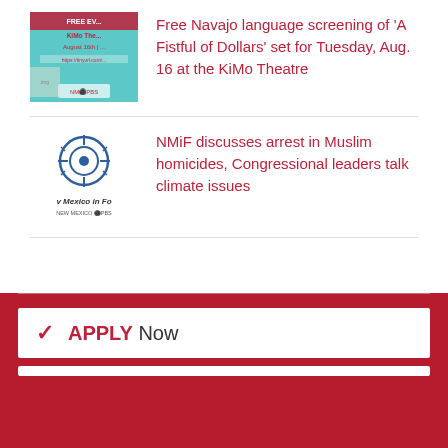[Figure (photo): Thumbnail image of a KiMo Theatre free event poster with teal background, text FREE EVENT, KiMo Theatre, August 16th, and NM PBS logo]
Free Navajo language screening of 'A Fistful of Dollars' set for Tuesday, Aug. 16 at the KiMo Theatre
[Figure (logo): New Mexico in Focus logo with circular crosshair graphic and NM PBS branding below]
NMiF discusses arrest in Muslim homicides, Congressional leaders talk climate issues
APPLY Now